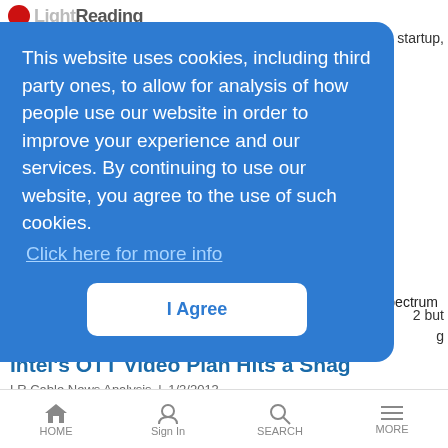Light Reading
startup,
This website uses cookies, including third party ones, to allow for analysis of how people use our website in order to improve your experience and our services. By continuing to use our website, you agree to the use of such cookies. Click here for more info
I Agree
2 but
g
Also in today's regional roundup: InterDigital's patent salvo; spectrum costs lead telco to the banks; OSS firm revises 2012 forecast
Intel's OTT Video Plan Hits a Snag
LR Cable News Analysis | 1/2/2013
Also: TW Cable bids for ex-Bresnan systems; Netflix CEO gets a fat raise; FCC OKs airline broadband rules; CSC, Comcast extend their deal.
HOME  Sign In  SEARCH  MORE